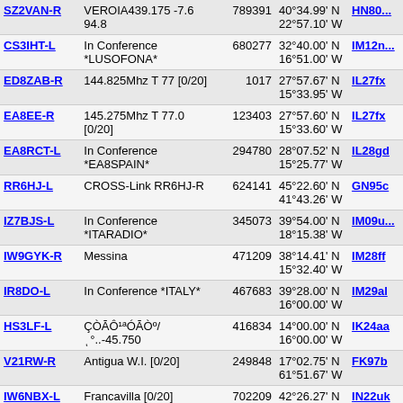| Callsign | Description | ID | Coordinates | Grid |
| --- | --- | --- | --- | --- |
| SZ2VAN-R | VEROIA439.175 -7.6 94.8 | 789391 | 40°34.99' N 22°57.10' W | HN80... |
| CS3IHT-L | In Conference *LUSOFONA* | 680277 | 32°40.00' N 16°51.00' W | IM12n... |
| ED8ZAB-R | 144.825Mhz T 77 [0/20] | 1017 | 27°57.67' N 15°33.95' W | IL27fx |
| EA8EE-R | 145.275Mhz T 77.0 [0/20] | 123403 | 27°57.60' N 15°33.60' W | IL27fx |
| EA8RCT-L | In Conference *EA8SPAIN* | 294780 | 28°07.52' N 15°25.77' W | IL28gd |
| RR6HJ-L | CROSS-Link RR6HJ-R | 624141 | 45°22.60' N 41°43.26' W | GN95c |
| IZ7BJS-L | In Conference *ITARADIO* | 345073 | 39°54.00' N 18°15.38' W | IM09u |
| IW9GYK-R | Messina | 471209 | 38°14.41' N 15°32.40' W | IM28ff |
| IR8DO-L | In Conference *ITALY* | 467683 | 39°28.00' N 16°00.00' W | IM29al |
| HS3LF-L | ÇÒĀÔ¹ªÓĀÒº/ͺ°..-45.750 | 416834 | 14°00.00' N 16°00.00' W | IK24aa |
| V21RW-R | Antigua W.I. [0/20] | 249848 | 17°02.75' N 61°51.67' W | FK97b |
| IW6NBX-L | Francavilla [0/20] | 702209 | 42°26.27' N 14°15.67' W | IN22uk |
| J73Z-R | Dominica W.I. [0/50] | 948514 | 15°17.29' N 61°19.87' W | FK95ig |
| VP2MO-R | Montserrat W.I. [0/10] | 457855 | 15°17.29' N ... | FK95ig |